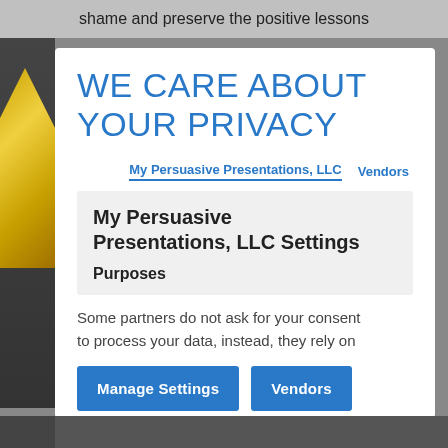shame and preserve the positive lessons
WE CARE ABOUT YOUR PRIVACY
My Persuasive Presentations, LLC   Vendors
My Persuasive Presentations, LLC Settings
Purposes
Some partners do not ask for your consent to process your data, instead, they rely on
Manage Settings   Vendors